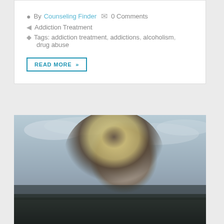By Counseling Finder  0 Comments
Addiction Treatment
Tags: addiction treatment, addictions, alcoholism, drug abuse
READ MORE »
[Figure (photo): Black and white portrait photo of a young woman with long hair outdoors against a cloudy sky background]